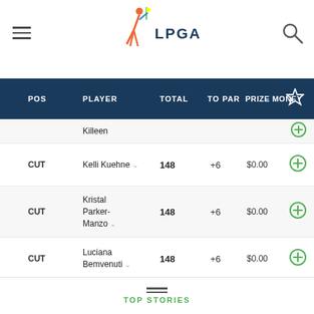LPGA
| POS | PLAYER | TOTAL | TO PAR | PRIZE MONEY |
| --- | --- | --- | --- | --- |
| CUT | Killeen |  |  |  |
| CUT | Kelli Kuehne | 148 | +6 | $0.00 |
| CUT | Kristal Parker-Manzo | 148 | +6 | $0.00 |
| CUT | Luciana Bemvenuti | 148 | +6 | $0.00 |
| CUT | Akiko Fukushima | 148 | +6 | $0.00 |
| CUT | Hilary Lunke | 148 | +6 | $0.00 |
| CUT | Laura Diaz | 148 | +6 | $0.00 |
| CUT | Ilmi Chung | 149 | +7 | $0.00 |
TOP STORIES